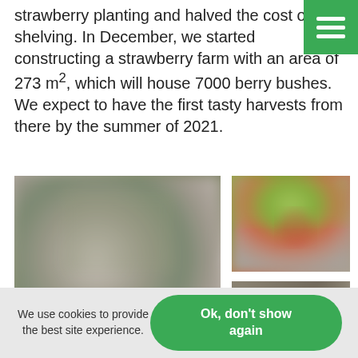strawberry planting and halved the cost of shelving. In December, we started constructing a strawberry farm with an area of 273 m², which will house 7000 berry bushes. We expect to have the first tasty harvests from there by the summer of 2021.
[Figure (photo): Large blurred outdoor photo showing strawberry farm or garden area, muted green and grey tones]
[Figure (photo): Small photo top-right showing green foliage and red strawberry fruit, blurred]
[Figure (photo): Small photo bottom-right showing blurred grey-brown outdoor scene]
We use cookies to provide the best site experience.
Ok, don't show again